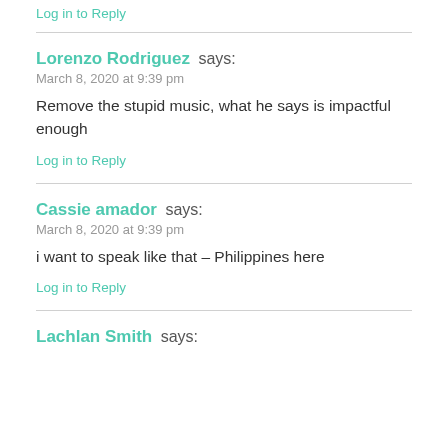Log in to Reply
Lorenzo Rodriguez says:
March 8, 2020 at 9:39 pm
Remove the stupid music, what he says is impactful enough
Log in to Reply
Cassie amador says:
March 8, 2020 at 9:39 pm
i want to speak like that – Philippines here
Log in to Reply
Lachlan Smith says: